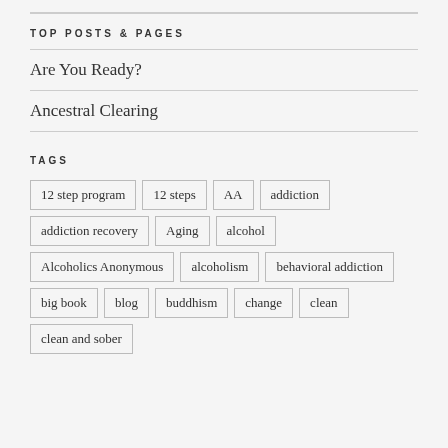TOP POSTS & PAGES
Are You Ready?
Ancestral Clearing
TAGS
12 step program
12 steps
AA
addiction
addiction recovery
Aging
alcohol
Alcoholics Anonymous
alcoholism
behavioral addiction
big book
blog
buddhism
change
clean
clean and sober